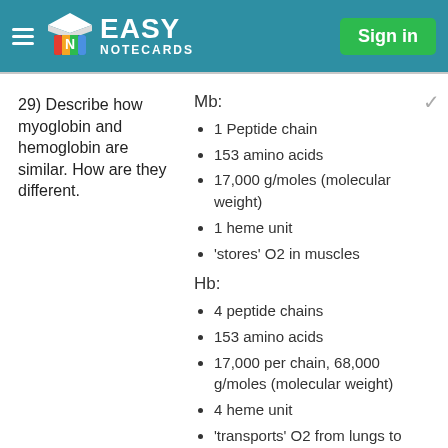Easy Notecards — Sign in
29) Describe how myoglobin and hemoglobin are similar. How are they different.
Mb:
1 Peptide chain
153 amino acids
17,000 g/moles (molecular weight)
1 heme unit
'stores' O2 in muscles
Hb:
4 peptide chains
153 amino acids
17,000 per chain, 68,000 g/moles (molecular weight)
4 heme unit
'transports' O2 from lungs to muscles